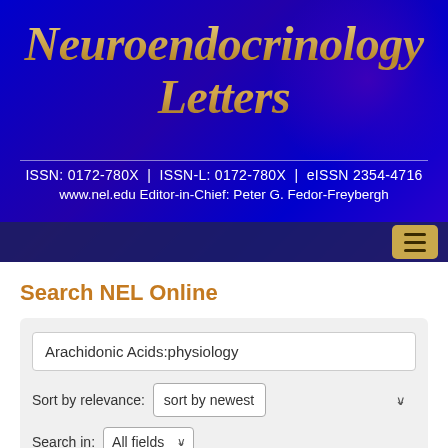[Figure (screenshot): Neuroendocrinology Letters journal website header with blue background, showing journal title in gold italic serif font, ISSN information, editor name, and navigation bar with hamburger menu button]
Search NEL Online
Arachidonic Acids:physiology (search input field)
Sort by relevance: sort by newest
Search in: All fields